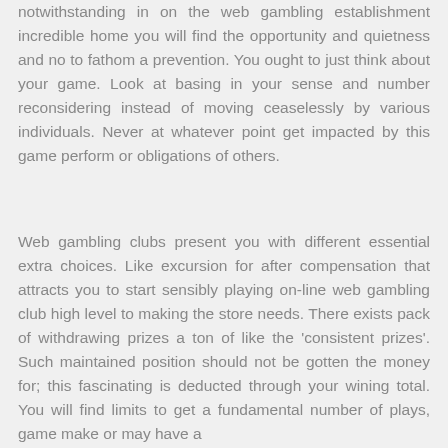notwithstanding in on the web gambling establishment incredible home you will find the opportunity and quietness and no to fathom a prevention. You ought to just think about your game. Look at basing in your sense and number reconsidering instead of moving ceaselessly by various individuals. Never at whatever point get impacted by this game perform or obligations of others.
Web gambling clubs present you with different essential extra choices. Like excursion for after compensation that attracts you to start sensibly playing on-line web gambling club high level to making the store needs. There exists pack of withdrawing prizes a ton of like the 'consistent prizes'. Such maintained position should not be gotten the money for; this fascinating is deducted through your wining total. You will find limits to get a fundamental number of plays, game make or may have a